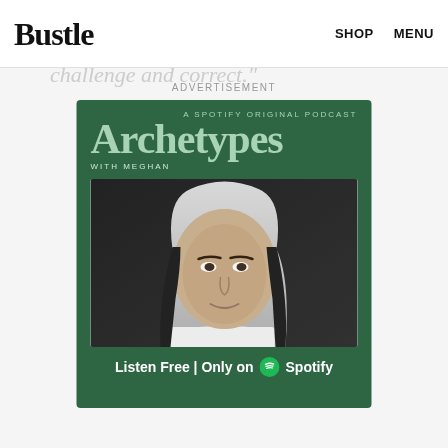Bustle | SHOP | MENU
out dieting, and that's something to question and challenge and correct."
ADVERTISEMENT
[Figure (infographic): Archetypes with Meghan — A Spotify Original Podcast advertisement on green background featuring a black and white photo of Meghan Markle with text: Listen Free | Only on Spotify]